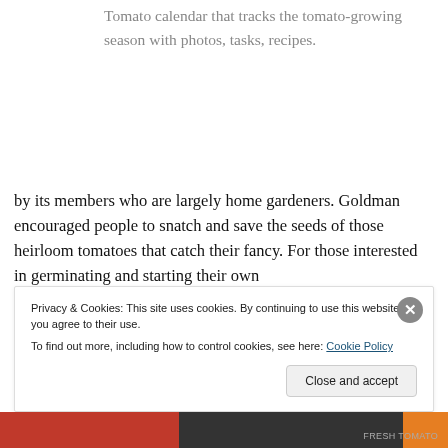Tomato calendar that tracks the tomato-growing season with photos, tasks, recipes.
by its members who are largely home gardeners. Goldman encouraged people to snatch and save the seeds of those heirloom tomatoes that catch their fancy. For those interested in germinating and starting their own
Privacy & Cookies: This site uses cookies. By continuing to use this website, you agree to their use.
To find out more, including how to control cookies, see here: Cookie Policy
Close and accept